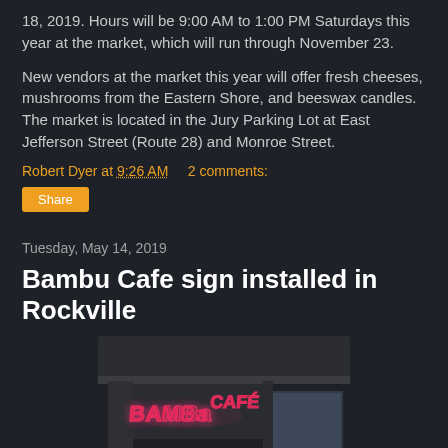18, 2019. Hours will be 9:00 AM to 1:00 PM Saturdays this year at the market, which will run through November 23.
New vendors at the market this year will offer fresh cheeses, mushrooms from the Eastern Shore, and beeswax candles. The market is located in the Jury Parking Lot at East Jefferson Street (Route 28) and Monroe Street.
Robert Dyer at 9:26 AM   2 comments:
Share
Tuesday, May 14, 2019
Bambu Cafe sign installed in Rockville
[Figure (photo): Photo of the Bambu Cafe illuminated sign on the exterior of a building, showing pink/red neon-style lettering reading BAMBU CAFÉ against a dark building facade with architectural details]